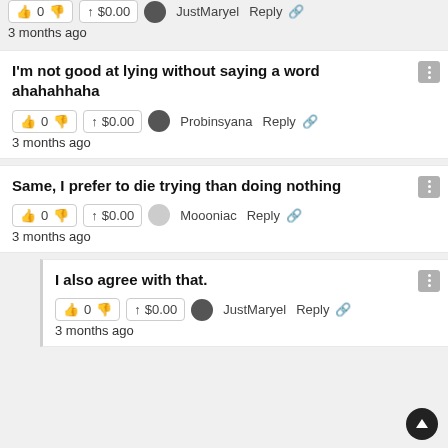👍 0 👎  ↑ $0.00  JustMaryel  Reply 🔗  3 months ago
I'm not good at lying without saying a word ahahahhaha
👍 0 👎  ↑ $0.00  Probinsyana  Reply 🔗  3 months ago
Same, I prefer to die trying than doing nothing
👍 0 👎  ↑ $0.00  Moooniac  Reply 🔗  3 months ago
I also agree with that.
👍 0 👎  ↑ $0.00  JustMaryel  Reply 🔗  3 months ago